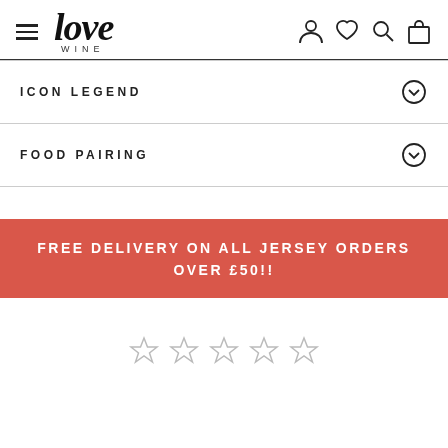love wine — navigation header with hamburger menu and icons
ICON LEGEND
FOOD PAIRING
FREE DELIVERY ON ALL JERSEY ORDERS OVER £50!!
[Figure (other): Five empty star rating icons]